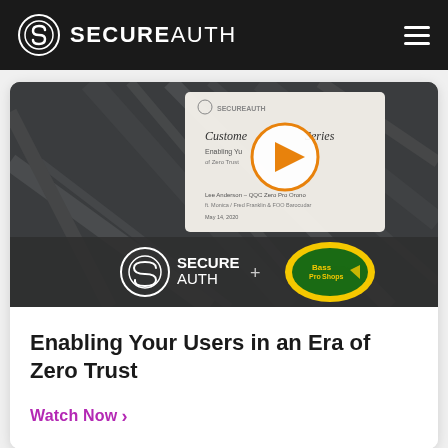SECUREAUTH
[Figure (screenshot): Video thumbnail showing a SecureAuth Customer Series webinar with a play button overlay, and the SecureAuth + Bass Pro Shops logo partnership banner below.]
Enabling Your Users in an Era of Zero Trust
Watch Now >